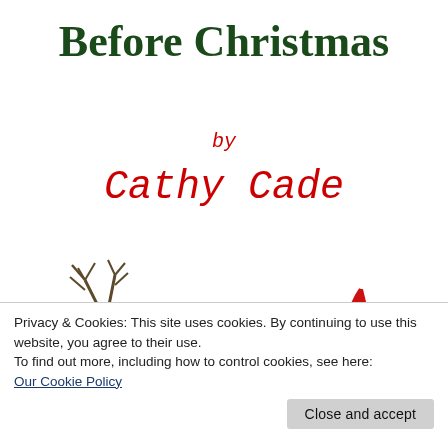Before Christmas
by
Cathy Cade
[Figure (illustration): A reindeer pulling a sleigh with Santa Claus seated on it, carrying a large red bag of gifts, on a white background.]
Privacy & Cookies: This site uses cookies. By continuing to use this website, you agree to their use.
To find out more, including how to control cookies, see here:
Our Cookie Policy
Close and accept